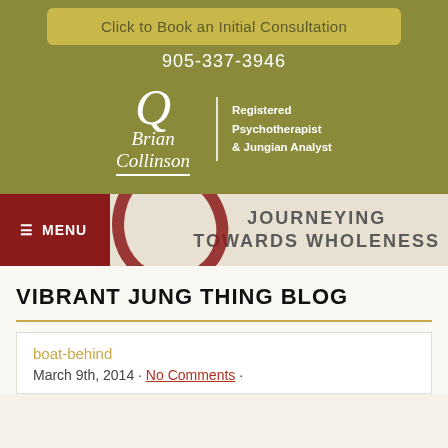Click to Book an Initial Consultation
905-337-3946
[Figure (logo): Brian Collinson logo with script name, circle Q emblem, vertical divider, and text 'Registered Psychotherapist & Jungian Analyst']
MENU | JOURNEYING TOWARDS WHOLENESS
VIBRANT JUNG THING BLOG
boat-behind
March 9th, 2014 · No Comments ·